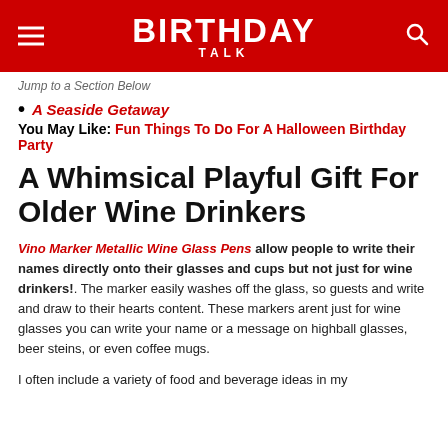BIRTHDAY TALK
Jump to a Section Below
A Seaside Getaway
You May Like: Fun Things To Do For A Halloween Birthday Party
A Whimsical Playful Gift For Older Wine Drinkers
Vino Marker Metallic Wine Glass Pens allow people to write their names directly onto their glasses and cups but not just for wine drinkers!. The marker easily washes off the glass, so guests and write and draw to their hearts content. These markers arent just for wine glasses you can write your name or a message on highball glasses, beer steins, or even coffee mugs.
I often include a variety of food and beverage ideas in my